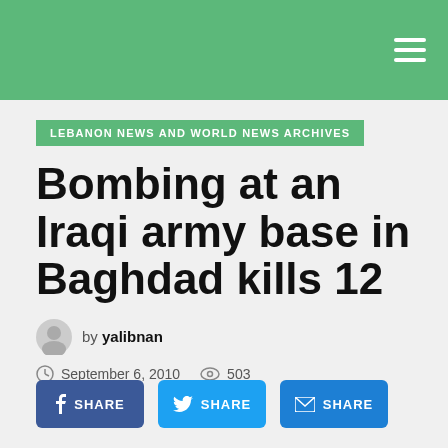LEBANON NEWS AND WORLD NEWS ARCHIVES
Bombing at an Iraqi army base in Baghdad kills 12
by yalibnan
September 6, 2010  503
SHARE  SHARE  SHARE